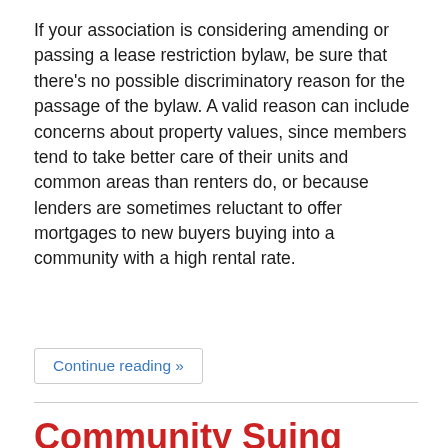If your association is considering amending or passing a lease restriction bylaw, be sure that there's no possible discriminatory reason for the passage of the bylaw. A valid reason can include concerns about property values, since members tend to take better care of their units and common areas than renters do, or because lenders are sometimes reluctant to offer mortgages to new buyers buying into a community with a high rental rate.
Continue reading »
Community Suing U.S.